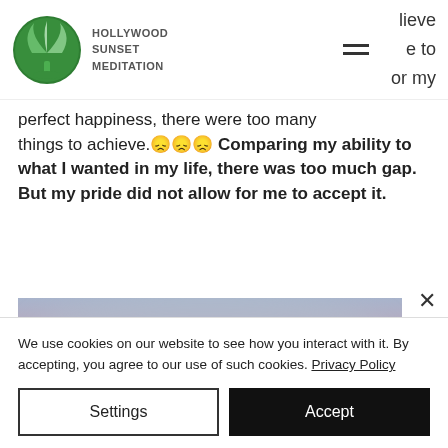HOLLYWOOD SUNSET MEDITATION
perfect happiness, there were too many things to achieve.😞😞😞 Comparing my ability to what I wanted in my life, there was too much gap. But my pride did not allow for me to accept it.
[Figure (photo): Blurred sunset sky photo with pink and purple clouds]
We use cookies on our website to see how you interact with it. By accepting, you agree to our use of such cookies. Privacy Policy
Settings
Accept